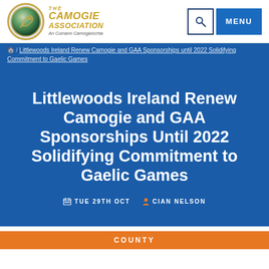[Figure (logo): The Camogie Association logo with circular emblem and golden text]
THE CAMOGIE ASSOCIATION An Cumann Camógaíochta
Littlewoods Ireland Renew Camogie and GAA Sponsorships until 2022 Solidifying Commitment to Gaelic Games
Littlewoods Ireland Renew Camogie and GAA Sponsorships Until 2022 Solidifying Commitment to Gaelic Games
TUE 29TH OCT   CIAN NELSON
COUNTY